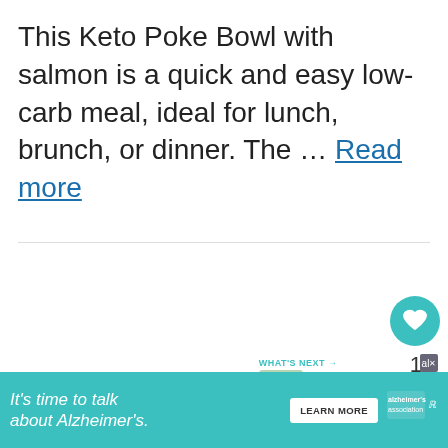This Keto Poke Bowl with salmon is a quick and easy low-carb meal, ideal for lunch, brunch, or dinner. The ... Read more
[Figure (other): Teal circular heart/like button with white heart icon, count of 1, and a share button below]
[Figure (other): WHAT'S NEXT arrow label with Keto Cauliflower thumbnail and music note icon]
[Figure (other): Advertisement banner: It's time to talk about Alzheimer's. LEARN MORE button. Alzheimer's association logo.]